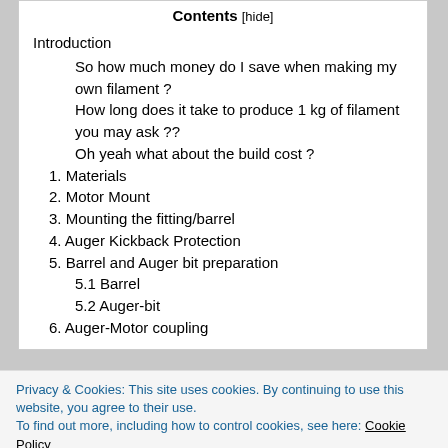Contents [hide]
Introduction
So how much money do I save when making my own filament ?
How long does it take to produce 1 kg of filament you may ask ??
Oh yeah what about the build cost ?
1. Materials
2. Motor Mount
3. Mounting the fitting/barrel
4. Auger Kickback Protection
5. Barrel and Auger bit preparation
5.1 Barrel
5.2 Auger-bit
6. Auger-Motor coupling
Privacy & Cookies: This site uses cookies. By continuing to use this website, you agree to their use. To find out more, including how to control cookies, see here: Cookie Policy
Close and accept
10. Electronics and Schematics